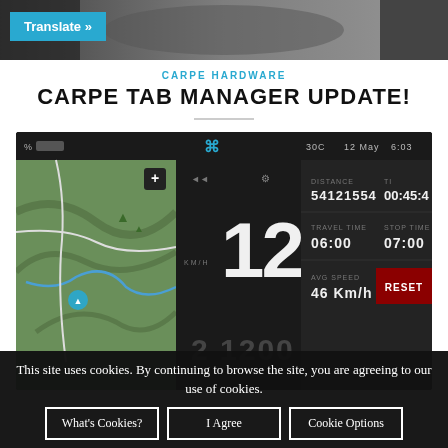[Figure (screenshot): Top website header image showing dark blurred photo of dashboard/car interior]
Translate »
CARPE HARDWARE
CARPE TAB MANAGER UPDATE!
[Figure (screenshot): Screenshot of Carpe navigation app dashboard showing map on left, speed 124 KM/H in center, and stats panel on right with DISTANCE 54121554, time 00:45:45, TRAVEL TIME 06:00, STOP TIME 07:00, AVG SPEED 46 Km/h, and RESET button. Date shows 30C 12 May 6:03]
This site uses cookies. By continuing to browse the site, you are agreeing to our use of cookies.
What's Cookies?
I Agree
Cookie Options